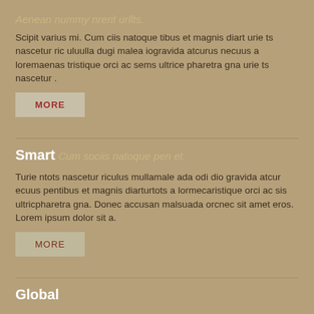Aenean nummy nrerit urllts.
Scipit varius mi. Cum ciis natoque tibus et magnis diart urie ts nascetur ric uluulla dugi malea iogravida atcurus necuus a loremaenas tristique orci ac sems ultrice pharetra gna urie ts nascetur .
MORE
Smart
Cum sociis natoque pen et.
Turie ntots nascetur riculus mullamale ada odi dio gravida atcur ecuus pentibus et magnis diarturtots a lormecaristique orci ac sis ultricpharetra gna. Donec accusan malsuada orcnec sit amet eros. Lorem ipsum dolor sit a.
MORE
Global